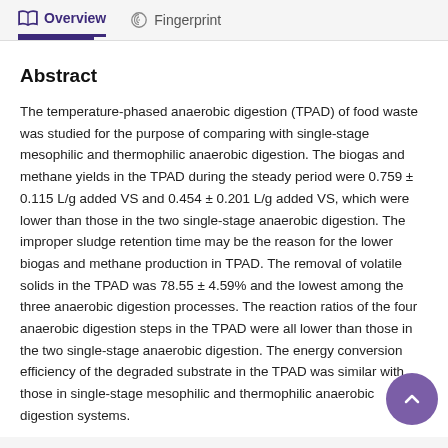Overview   Fingerprint
Abstract
The temperature-phased anaerobic digestion (TPAD) of food waste was studied for the purpose of comparing with single-stage mesophilic and thermophilic anaerobic digestion. The biogas and methane yields in the TPAD during the steady period were 0.759 ± 0.115 L/g added VS and 0.454 ± 0.201 L/g added VS, which were lower than those in the two single-stage anaerobic digestion. The improper sludge retention time may be the reason for the lower biogas and methane production in TPAD. The removal of volatile solids in the TPAD was 78.55 ± 4.59% and the lowest among the three anaerobic digestion processes. The reaction ratios of the four anaerobic digestion steps in the TPAD were all lower than those in the two single-stage anaerobic digestion. The energy conversion efficiency of the degraded substrate in the TPAD was similar with those in single-stage mesophilic and thermophilic anaerobic digestion systems.